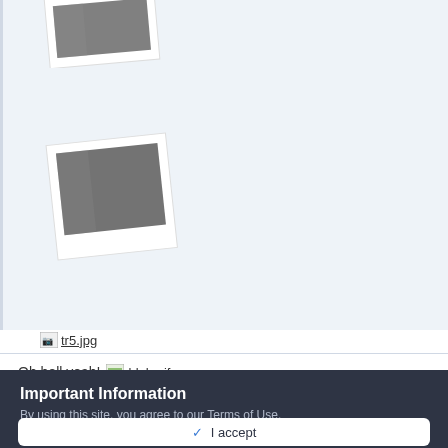[Figure (illustration): A polaroid-style photo card (partially cropped at top) showing a tilted photo with a grey/dark rectangle inside, white border, on a light blue background]
[Figure (illustration): A polaroid-style photo card showing a tilted photo with a grey/dark rectangle inside, white border, on a light blue background]
tr5.jpg
Oh hell yeah! bleh.gif
Important Information
By using this site, you agree to our Terms of Use.
✓  I accept